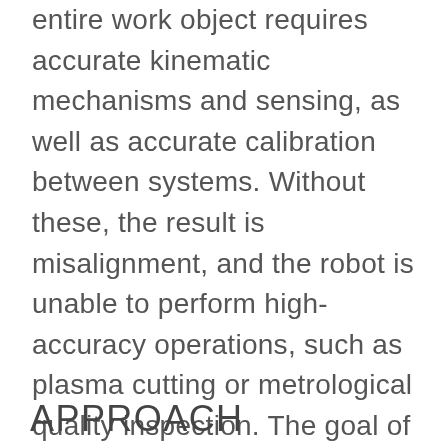entire work object requires accurate kinematic mechanisms and sensing, as well as accurate calibration between systems. Without these, the result is misalignment, and the robot is unable to perform high-accuracy operations, such as plasma cutting or metrological quality inspection. The goal of this project was to utilize vision sensors to refine the kinematic models of the mechanical components of robotic systems to allow accurate sensor-to-robot coordination within a work cell.
APPROACH